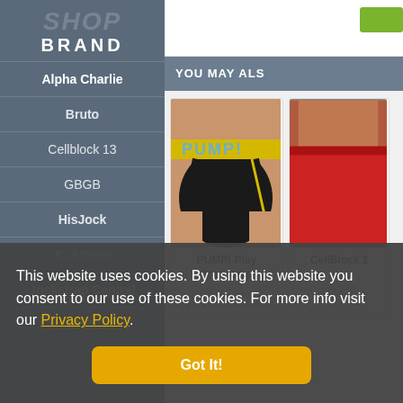SHOP BRAND
Alpha Charlie
Bruto
Cellblock 13
GBGB
HisJock
JC Athletic
Jockstrap Central
KING DICK
YOU MAY ALS
[Figure (photo): PUMP! Play Jockstrap in black with yellow band]
PUMP! Play Jockstrap
color: Yellow
price: $28.00 USD
[Figure (photo): CellBlock 1 product in red shorts, partial view]
CellBlock 1
col...
price: $...
This website uses cookies. By using this website you consent to our use of these cookies. For more info visit our Privacy Policy.
Got It!